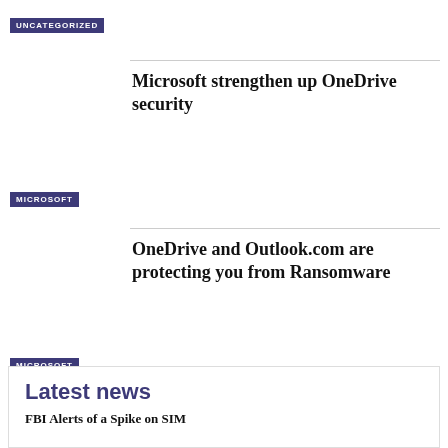UNCATEGORIZED
Microsoft strengthen up OneDrive security
MICROSOFT
OneDrive and Outlook.com are protecting you from Ransomware
MICROSOFT
Latest news
FBI Alerts of a Spike on SIM...